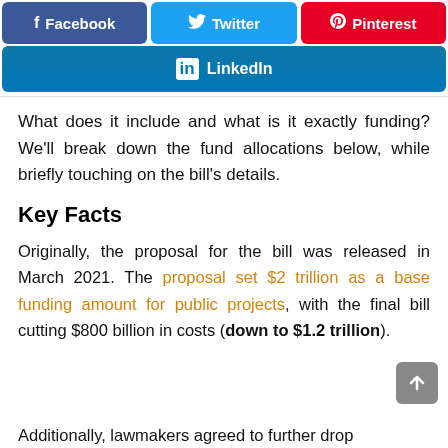[Figure (other): Social media share buttons: Facebook, Twitter, Pinterest in a row, and LinkedIn below]
What does it include and what is it exactly funding? We'll break down the fund allocations below, while briefly touching on the bill's details.
Key Facts
Originally, the proposal for the bill was released in March 2021. The proposal set $2 trillion as a base funding amount for public projects, with the final bill cutting $800 billion in costs (down to $1.2 trillion).
Additionally, lawmakers agreed to further drop